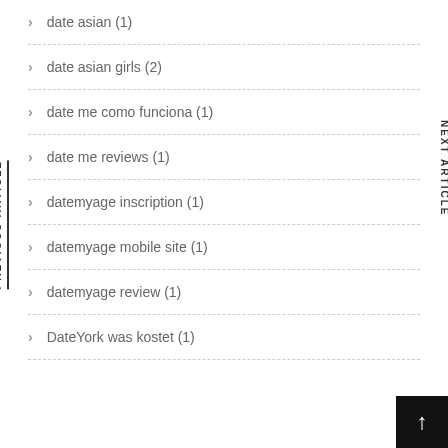date asian (1)
date asian girls (2)
date me como funciona (1)
date me reviews (1)
datemyage inscription (1)
datemyage mobile site (1)
datemyage review (1)
DateYork was kostet (1)